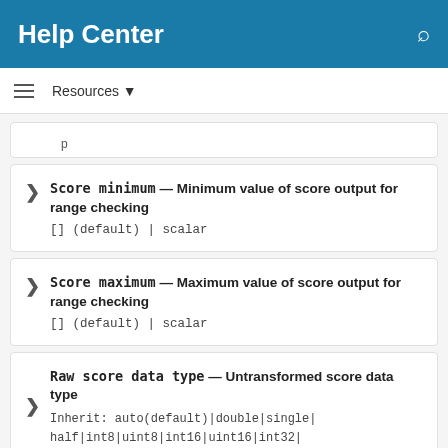Help Center
Resources
Score minimum — Minimum value of score output for range checking
[] (default) | scalar
Score maximum — Maximum value of score output for range checking
[] (default) | scalar
Raw score data type — Untransformed score data type
Inherit: auto(default)|double|single|half|int8|uint8|int16|uint16|int32|uint32|int64|uint64|boolean|fixdt(1,16)|fixdt(1,16,0)|fixdt(1,16,2^0,0)|<data_type